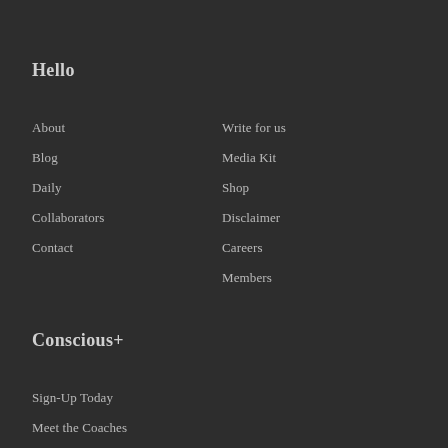Hello
About
Blog
Daily
Collaborators
Contact
Write for us
Media Kit
Shop
Disclaimer
Careers
Members
Conscious+
Sign-Up Today
Meet the Coaches